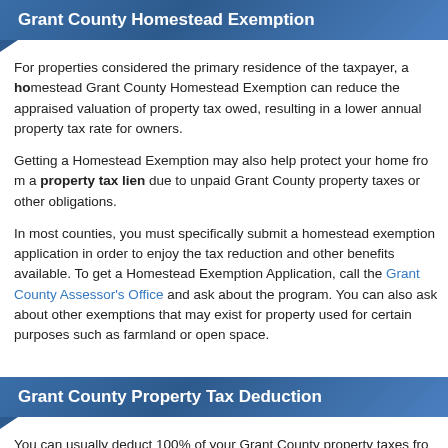Grant County Homestead Exemption
For properties considered the primary residence of the taxpayer, a homestead exemption. Grant County Homestead Exemption can reduce the appraised valuation of property tax owed, resulting in a lower annual property tax rate for owners.
Getting a Homestead Exemption may also help protect your home from a property tax lien due to unpaid Grant County property taxes or other obligations.
In most counties, you must specifically submit a homestead exemption application in order to enjoy the tax reduction and other benefits available. To get a Homestead Exemption Application, call the Grant County Assessor's Office and ask about the program. You can also ask about other exemptions that may exist for property used for certain purposes such as farmland or open space.
Grant County Property Tax Deduction
You can usually deduct 100% of your Grant County property taxes from your Income Tax Return as an itemized deduction. Minnesota may also let you deduct property taxes on your Minnesota income tax return.